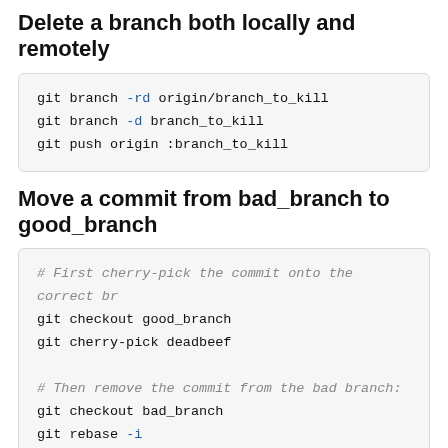Delete a branch both locally and remotely
git branch -rd origin/branch_to_kill
git branch -d branch_to_kill
git push origin :branch_to_kill
Move a commit from bad_branch to good_branch
# First cherry-pick the commit onto the correct br
git checkout good_branch
git cherry-pick deadbeef

# Then remove the commit from the bad branch:
git checkout bad_branch
git rebase -i
# Change the undesirable commit to "noop"
For more on branching, see Git topic branches.